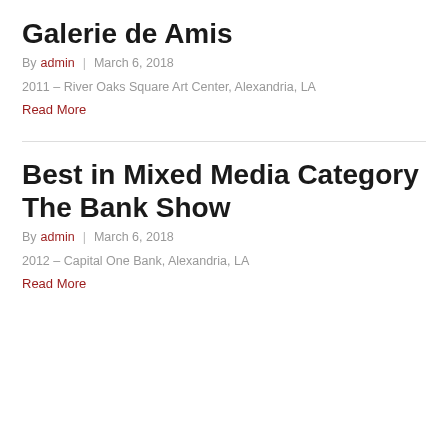Galerie de Amis
By admin | March 6, 2018
2011 – River Oaks Square Art Center, Alexandria, LA
Read More
Best in Mixed Media Category The Bank Show
By admin | March 6, 2018
2012 – Capital One Bank, Alexandria, LA
Read More